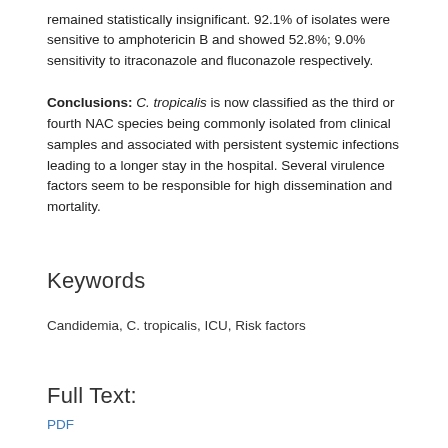remained statistically insignificant. 92.1% of isolates were sensitive to amphotericin B and showed 52.8%; 9.0% sensitivity to itraconazole and fluconazole respectively.
Conclusions: C. tropicalis is now classified as the third or fourth NAC species being commonly isolated from clinical samples and associated with persistent systemic infections leading to a longer stay in the hospital. Several virulence factors seem to be responsible for high dissemination and mortality.
Keywords
Candidemia, C. tropicalis, ICU, Risk factors
Full Text:
PDF